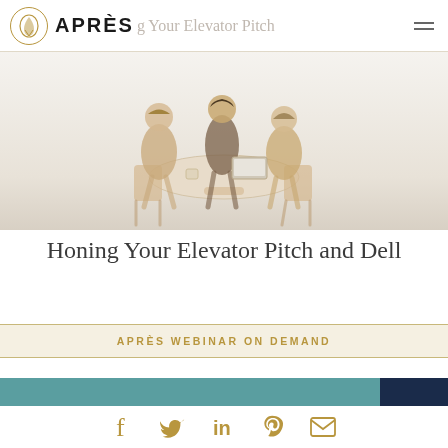APRÈS — Honing Your Elevator Pitch
[Figure (illustration): Three women sitting around a table in a meeting, rendered in warm gold/beige tones on a light gradient background]
Honing Your Elevator Pitch and Dell
APRÈS WEBINAR ON DEMAND
[Figure (infographic): Teal banner bar with dark navy block on right side, and social share icons (Facebook, Twitter, LinkedIn, Pinterest, Email) in gold below]